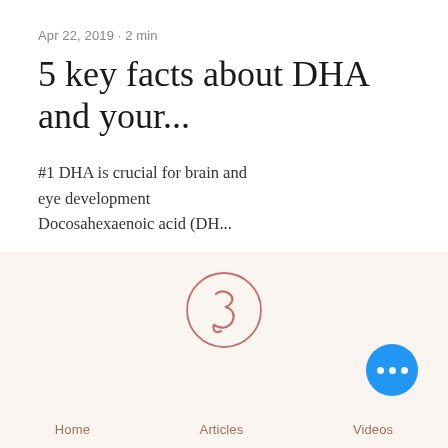Apr 22, 2019 · 2 min
5 key facts about DHA and your...
#1 DHA is crucial for brain and eye development Docosahexaenoic acid (DH...
696 views  0 comments  2 likes
[Figure (logo): Medium-style blog logo: a stylized number 3 with a curled tail inside a thin circle, rendered in muted rose/salmon color on a cream background]
Home   Articles   Videos